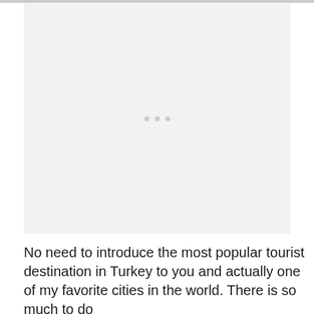[Figure (other): Large image placeholder area with light gray background and three loading dots in the center, bordered by a gray bar at the top]
No need to introduce the most popular tourist destination in Turkey to you and actually one of my favorite cities in the world. There is so much to do